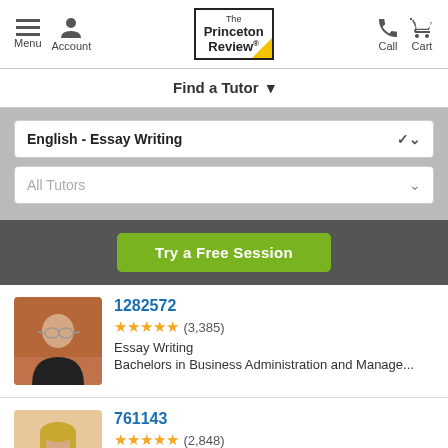Menu  Account  The Princeton Review®  Call  Cart
Find a Tutor ▾
English - Essay Writing
All Tutors
Try a Free Session
1282572
★★★★★ (3,385)
Essay Writing
Bachelors in Business Administration and Manage...
761143
★★★★★ (2,848)
ELL, English, Essay Writing
Bachelors in English Language and Literature, Ge...